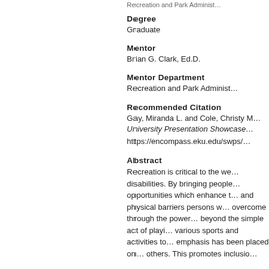Recreation and Park Administ...
Degree
Graduate
Mentor
Brian G. Clark, Ed.D.
Mentor Department
Recreation and Park Administ...
Recommended Citation
Gay, Miranda L. and Cole, Christy M... University Presentation Showcase... https://encompass.eku.edu/swps/...
Abstract
Recreation is critical to the we... disabilities. By bringing people... opportunities which enhance t... and physical barriers persons w... overcome through the power... beyond the simple act of playi... various sports and activities to... emphasis has been placed on... others. This promotes inclusio...